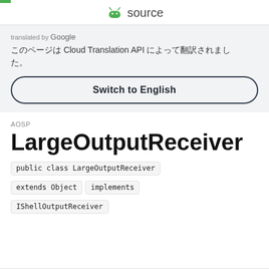source
translated by Google
このページは Cloud Translation API によって翻訳されました。
Switch to English
AOSP
LargeOutputReceiver
public class LargeOutputReceiver extends Object implements IShellOutputReceiver